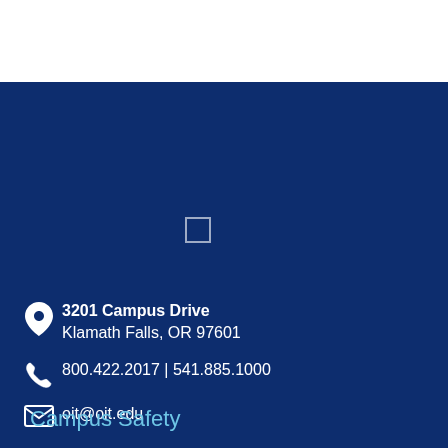[Figure (other): Small square outline icon/logo on dark blue background]
3201 Campus Drive
Klamath Falls, OR 97601
800.422.2017 | 541.885.1000
oit@oit.edu
Campus Safety